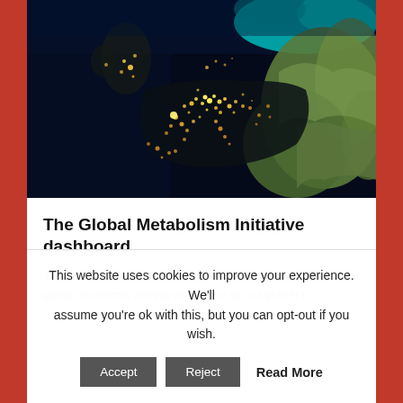[Figure (map): Satellite night-lights photo of Europe and surrounding regions, showing city lights in western/central Europe against a dark background and green/brown terrain to the east, with turquoise ocean/sea areas.]
The Global Metabolism Initiative dashboard
The Global Metabolism Initiative maps the impacts of global economic activity in relation to our planet's
This website uses cookies to improve your experience. We'll assume you're ok with this, but you can opt-out if you wish.